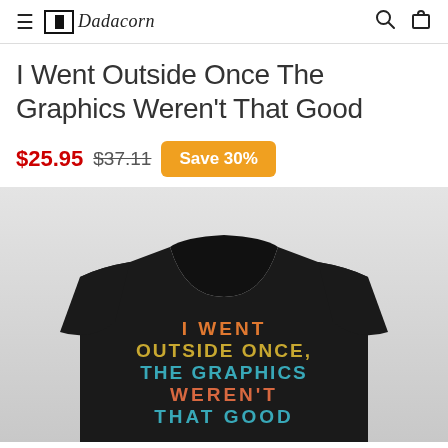Dadacorn — navigation header with menu, logo, search, and bag icons
I Went Outside Once The Graphics Weren't That Good
$25.95  $37.11  Save 30%
[Figure (photo): Black t-shirt with retro multicolor text reading 'I WENT OUTSIDE ONCE, THE GRAPHICS WEREN'T THAT GOOD' printed on the front, shown on a light gray gradient background.]